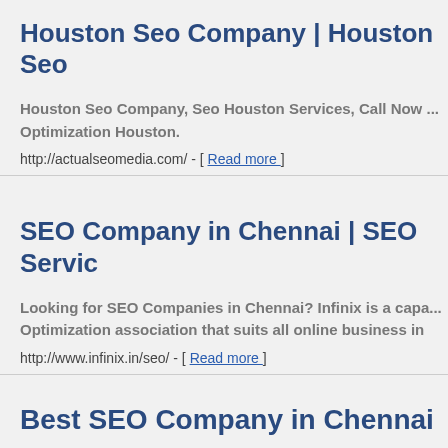Houston Seo Company | Houston Seo...
Houston Seo Company, Seo Houston Services, Call Now ... Optimization Houston.
http://actualseomedia.com/ - [ Read more ]
SEO Company in Chennai | SEO Servic...
Looking for SEO Companies in Chennai? Infinix is a capa... Optimization association that suits all online business in...
http://www.infinix.in/seo/ - [ Read more ]
Best SEO Company in Chennai
Sukere Infotechs is Premium SEO Company in Chennai h... optimising your website with set of best SEO professi...